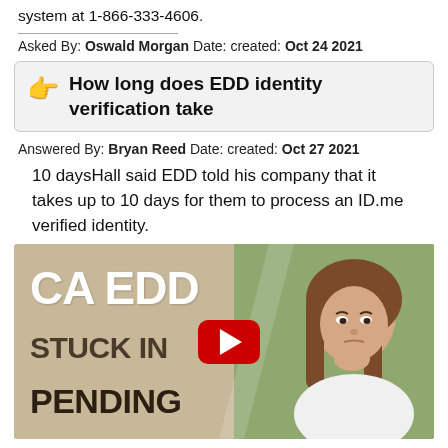system at 1-866-333-4606.
Asked By: Oswald Morgan Date: created: Oct 24 2021
How long does EDD identity verification take
Answered By: Bryan Reed Date: created: Oct 27 2021
10 daysHall said EDD told his company that it takes up to 10 days for them to process an ID.me verified identity.
[Figure (screenshot): YouTube video thumbnail showing text 'CA EDD STUCK IN PENDING' on left with tan background, and a woman with brown hair looking worried on the right, with a red YouTube play button in the center.]